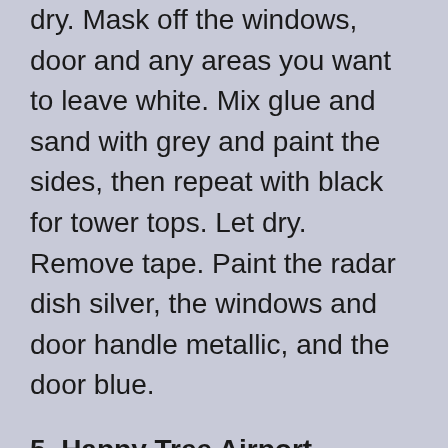dry. Mask off the windows, door and any areas you want to leave white. Mix glue and sand with grey and paint the sides, then repeat with black for tower tops. Let dry. Remove tape. Paint the radar dish silver, the windows and door handle metallic, and the door blue.
5. Happy Tree Airport
This windowsill makes a great runway, or you could paint a strip of cardboard black. “Ladies and gentlemen, this is your pilot speaking. Fasten your seatbelts; Flight 24 from Happy Tree to Shelton will be